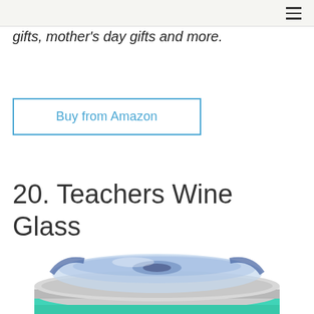gifts, mother's day gifts and more.
Buy from Amazon
20. Teachers Wine Glass
[Figure (photo): A teal/mint colored insulated tumbler wine glass with a clear plastic lid and silver rim, viewed from above and slightly to the side.]